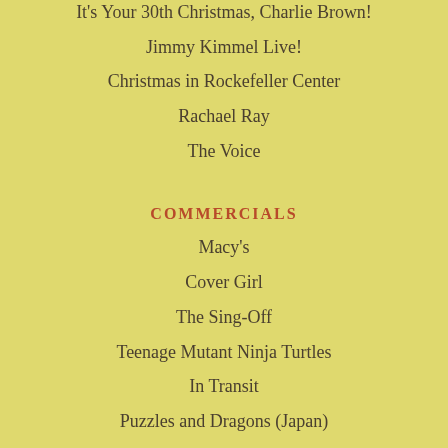It's Your 30th Christmas, Charlie Brown!
Jimmy Kimmel Live!
Christmas in Rockefeller Center
Rachael Ray
The Voice
COMMERCIALS
Macy's
Cover Girl
The Sing-Off
Teenage Mutant Ninja Turtles
In Transit
Puzzles and Dragons (Japan)